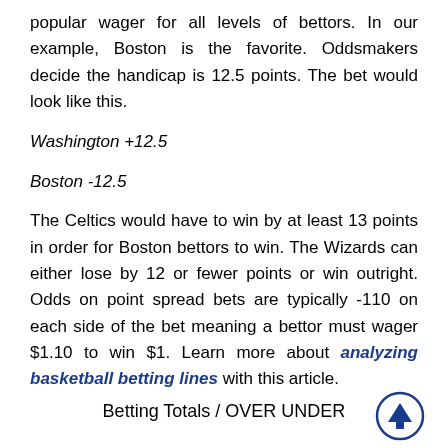popular wager for all levels of bettors. In our example, Boston is the favorite. Oddsmakers decide the handicap is 12.5 points. The bet would look like this.
Washington +12.5
Boston -12.5
The Celtics would have to win by at least 13 points in order for Boston bettors to win. The Wizards can either lose by 12 or fewer points or win outright. Odds on point spread bets are typically -110 on each side of the bet meaning a bettor must wager $1.10 to win $1. Learn more about analyzing basketball betting lines with this article.
Betting Totals / OVER UNDER